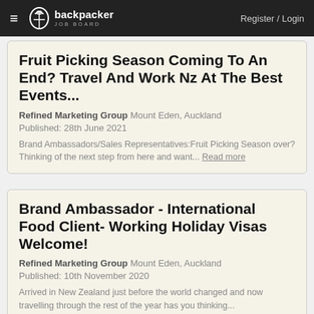≡ backpacker JOB BOARD  Register / Login
Fruit Picking Season Coming To An End? Travel And Work Nz At The Best Events...
Refined Marketing Group  Mount Eden, Auckland
Published: 28th June 2021
Brand Ambassadors/Sales Representatives:Fruit Picking Season over? Thinking of the next step from here and want... Read more
Brand Ambassador - International Food Client- Working Holiday Visas Welcome!
Refined Marketing Group  Mount Eden, Auckland
Published: 10th November 2020
Arrived in New Zealand just before the world changed and now travelling through the rest of the year has you thinking... Read more